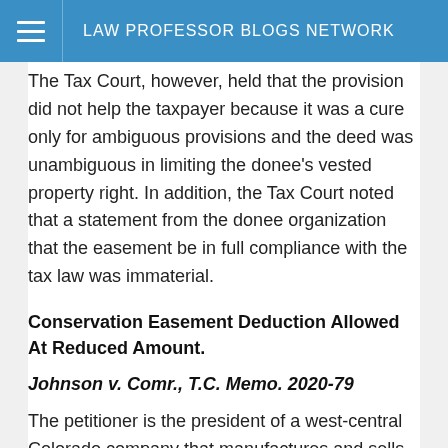LAW PROFESSOR BLOGS NETWORK
The Tax Court, however, held that the provision did not help the taxpayer because it was a cure only for ambiguous provisions and the deed was unambiguous in limiting the donee's vested property right. In addition, the Tax Court noted that a statement from the donee organization that the easement be in full compliance with the tax law was immaterial.
Conservation Easement Deduction Allowed At Reduced Amount.
Johnson v. Comr., T.C. Memo. 2020-79
The petitioner is the president of a west-central Colorado company that manufactures and sells disposable ink pans for printing presses. He purchased a ranch in 2002 for 200,000 and carved out a permanent conservation easement that he